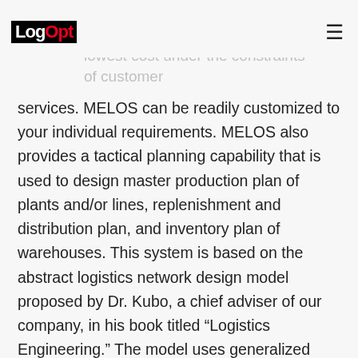LogOpt
and/or reverse logistics networks at the lowest cost under the constraints of customer services. MELOS can be readily customized to your individual requirements. MELOS also provides a tactical planning capability that is used to design master production plan of plants and/or lines, replenishment and distribution plan, and inventory plan of warehouses. This system is based on the abstract logistics network design model proposed by Dr. Kubo, a chief adviser of our company, in his book titled “Logistics Engineering.” The model uses generalized concepts of networks and generic bill-of-materials; it can handle multiple layered networks with cycles and also reverse flows. Facilities such as plants and warehouses are modeled as resources on arcs. Vehicles, ships, rails, and airplanes are also modeled as resources moving in the network.